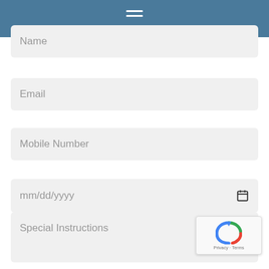[Figure (screenshot): Blue navigation header bar with hamburger menu icon (two white horizontal lines)]
Name
Email
Mobile Number
mm/dd/yyyy
Number of Passengers
Special Instructions
[Figure (logo): reCAPTCHA widget with spinning arrow logo and Privacy - Terms text]